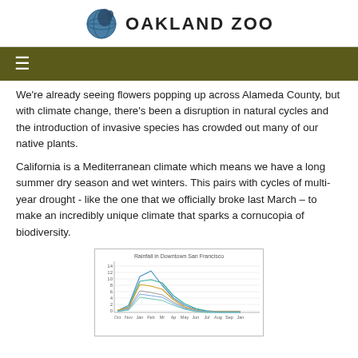OAKLAND ZOO
We're already seeing flowers popping up across Alameda County, but with climate change, there's been a disruption in natural cycles and the introduction of invasive species has crowded out many of our native plants.
California is a Mediterranean climate which means we have a long summer dry season and wet winters. This pairs with cycles of multi-year drought - like the one that we officially broke last March – to make an incredibly unique climate that sparks a cornucopia of biodiversity.
[Figure (line-chart): Multi-line chart showing rainfall data over months (Oct through Jan) for Downtown San Francisco. Multiple colored lines (blue, teal, yellow/gold, gray) peak around Jan-Feb at values near 10-14 and taper off toward summer months.]